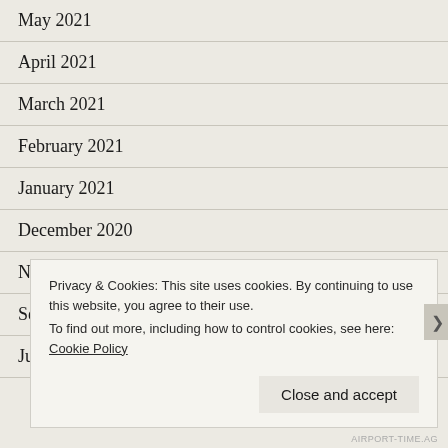May 2021
April 2021
March 2021
February 2021
January 2021
December 2020
November 2020
September 2020
July 2020
Privacy & Cookies: This site uses cookies. By continuing to use this website, you agree to their use.
To find out more, including how to control cookies, see here: Cookie Policy
Close and accept
AIRPORT-TIME.AG